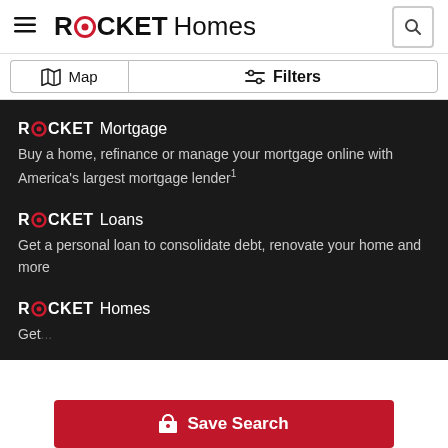ROCKET Homes
Map | Filters
ROCKET Mortgage
Buy a home, refinance or manage your mortgage online with America's largest mortgage lender¹
ROCKET Loans
Get a personal loan to consolidate debt, renovate your home and more
ROCKET Homes
Get...
Save Search